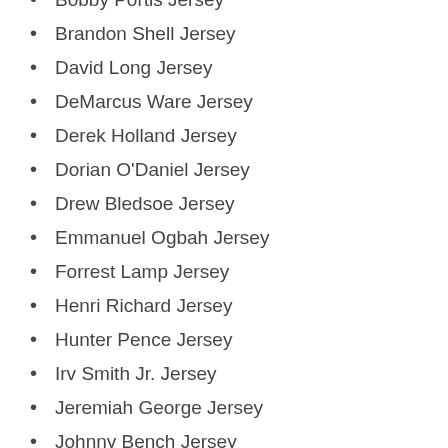Bobby Portis Jersey
Brandon Shell Jersey
David Long Jersey
DeMarcus Ware Jersey
Derek Holland Jersey
Dorian O'Daniel Jersey
Drew Bledsoe Jersey
Emmanuel Ogbah Jersey
Forrest Lamp Jersey
Henri Richard Jersey
Hunter Pence Jersey
Irv Smith Jr. Jersey
Jeremiah George Jersey
Johnny Bench Jersey
Jorge Alfaro Jersey